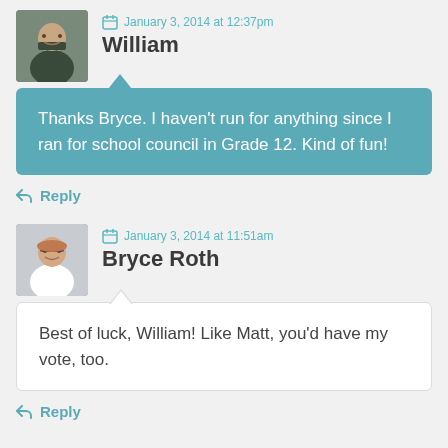[Figure (photo): Avatar photo of William, a man in glasses and suit]
January 3, 2014 at 12:37pm
William
Thanks Bryce. I haven't run for anything since I ran for school council in Grade 12. Kind of fun!
Reply
[Figure (photo): Avatar photo of Bryce Roth, a man in glasses and white shirt]
January 3, 2014 at 11:51am
Bryce Roth
Best of luck, William! Like Matt, you'd have my vote, too.
Reply